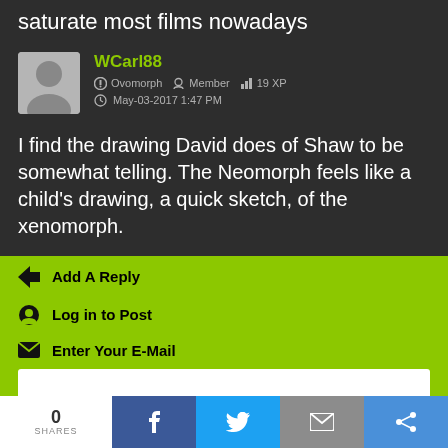saturate most films nowadays
WCarl88
Ovomorph  Member  19 XP
May-03-2017 1:47 PM
I find the drawing David does of Shaw to be somewhat telling. The Neomorph feels like a child's drawing, a quick sketch, of the xenomorph.
Add A Reply
Log in to Post
Enter Your E-Mail
Enter Your Password
0
SHARES